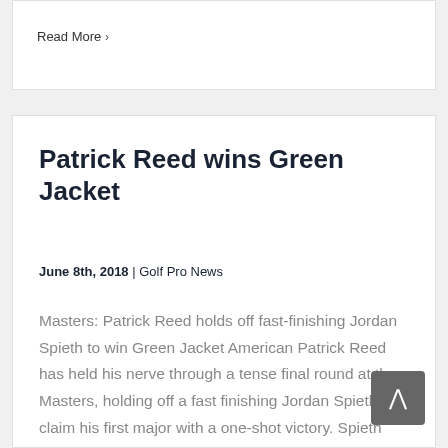Read More >
Patrick Reed wins Green Jacket
June 8th, 2018 | Golf Pro News
Masters: Patrick Reed holds off fast-finishing Jordan Spieth to win Green Jacket American Patrick Reed has held his nerve through a tense final round at the Masters, holding off a fast finishing Jordan Spieth to claim his first major with a one-shot victory. Spieth shot a eight-under 64 in the final round to pull back within [...]